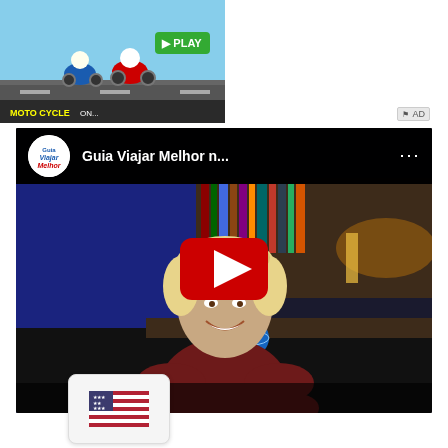[Figure (screenshot): Game advertisement banner at top left showing a racing game with cartoon characters on motorcycles with a green PLAY button]
[Figure (screenshot): YouTube video player embed showing 'Guia Viajar Melhor n...' with a woman with short blonde hair sitting in front of a bookshelf, wearing a dark red sleeveless top. Large red YouTube play button in center. Channel logo (Viajar Melhor) shown top left with three-dot menu top right.]
[Figure (screenshot): US flag icon button at bottom left corner of the page]